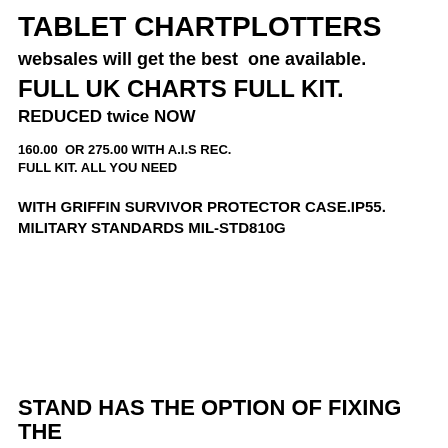TABLET CHARTPLOTTERS
websales will get the best  one available.
FULL UK CHARTS FULL KIT.
REDUCED twice NOW
160.00  OR 275.00 WITH A.I.S REC.
FULL KIT. ALL YOU NEED
WITH GRIFFIN SURVIVOR PROTECTOR CASE.IP55.
MILITARY STANDARDS MIL-STD810G
STAND HAS THE OPTION OF FIXING THE